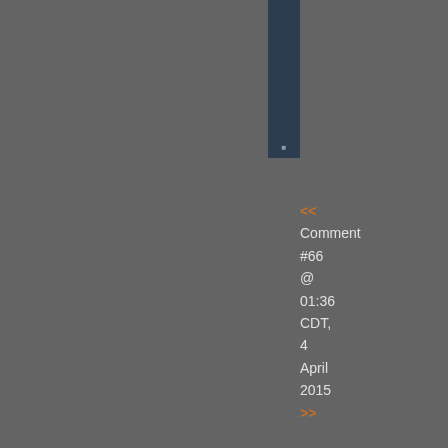[Figure (screenshot): Dark blue vertical navigation sidebar at top, partially visible]
<< Comment #66 @ 01:36 CDT, 4 April 2015 >>
[Figure (screenshot): Dark blue vertical navigation sidebar at bottom with orange letters visible]